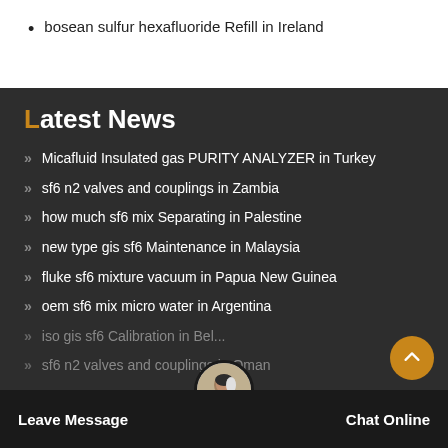bosean sulfur hexafluoride Refill in Ireland
Latest News
Micafluid Insulated gas PURITY ANALYZER in Turkey
sf6 n2 valves and couplings in Zambia
how much sf6 mix Separating in Palestine
new type gis sf6 Maintenance in Malaysia
fluke sf6 mixture vacuum in Papua New Guinea
oem sf6 mix micro water in Argentina
iso gis sf6 Calibration in Belgium
sf6 n2 valves and couplings in Oman
Leave Message
Chat Online